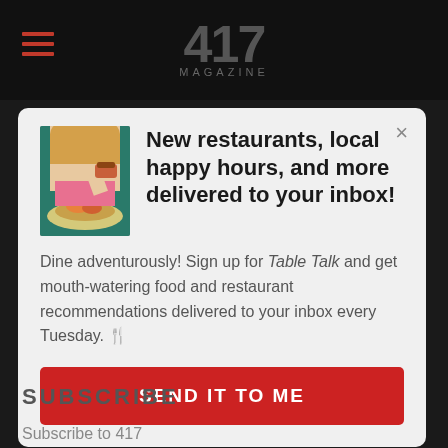417 MAGAZINE
[Figure (screenshot): Modal popup with food image (woman eating food), headline text, body text, and red CTA button on gray background]
New restaurants, local happy hours, and more delivered to your inbox!
Dine adventurously! Sign up for Table Talk and get mouth-watering food and restaurant recommendations delivered to your inbox every Tuesday. 🍴
SEND IT TO ME
SUBSCRIBE
Subscribe to 417
Renew Subscription